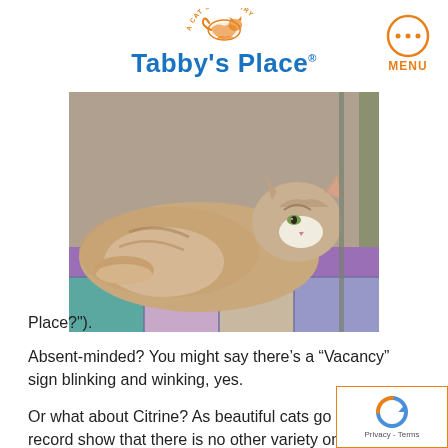[Figure (logo): Tabby's Place cat sanctuary logo with orange cat illustration and blue wordmark]
[Figure (photo): A tabby cat lying on a colorful patchwork quilt/mat on a metal shelf, looking sideways at the camera]
Place?").
Absent-minded? You might say there’s a “Vacancy” sign blinking and winking, yes.
Or what about Citrine? As beautiful cats go (let the record show that there is no other variety on any planet ever), this quaint little quartz is a gem in a mine all own. Some crazy quilter determined to use up all t scraps in her fabric drawer on the day Citrine was